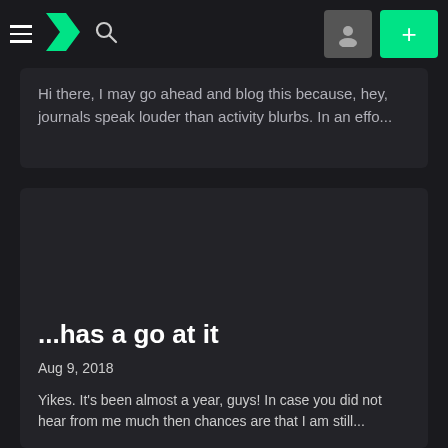DeviantArt navigation bar with hamburger menu, logo, search icon, avatar button, and plus button
Hi there, I may go ahead and blog this because, hey, journals speak louder than activity blurbs. In an effo...
...has a go at it
Aug 9, 2018
Yikes. It's been almost a year, guys! In case you did not hear from me much then chances are that I am still...